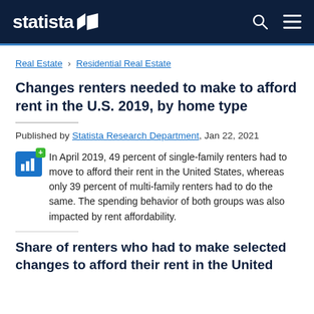statista
Real Estate › Residential Real Estate
Changes renters needed to make to afford rent in the U.S. 2019, by home type
Published by Statista Research Department, Jan 22, 2021
In April 2019, 49 percent of single-family renters had to move to afford their rent in the United States, whereas only 39 percent of multi-family renters had to do the same. The spending behavior of both groups was also impacted by rent affordability.
Share of renters who had to make selected changes to afford their rent in the United